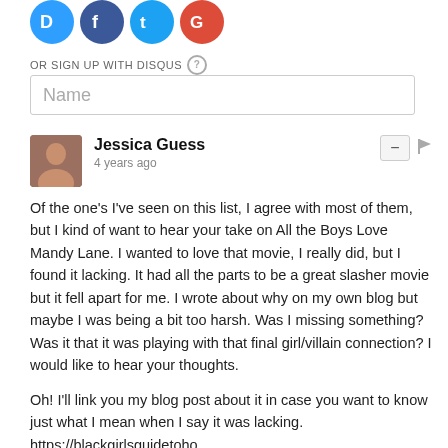[Figure (logo): Social login icons for Disqus, Facebook, Twitter, and Google shown as colored circles with white letters]
OR SIGN UP WITH DISQUS ?
Name
Jessica Guess
4 years ago
Of the one's I've seen on this list, I agree with most of them, but I kind of want to hear your take on All the Boys Love Mandy Lane. I wanted to love that movie, I really did, but I found it lacking. It had all the parts to be a great slasher movie but it fell apart for me. I wrote about why on my own blog but maybe I was being a bit too harsh. Was I missing something? Was it that it was playing with that final girl/villain connection? I would like to hear your thoughts.

Oh! I'll link you my blog post about it in case you want to know just what I mean when I say it was lacking. https://blackgirlsguidetoho...